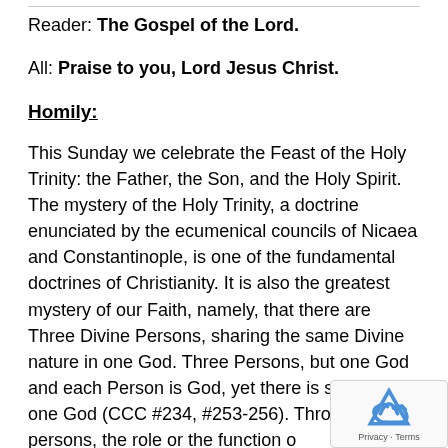Reader: The Gospel of the Lord.
All: Praise to you, Lord Jesus Christ.
Homily:
This Sunday we celebrate the Feast of the Holy Trinity: the Father, the Son, and the Holy Spirit. The mystery of the Holy Trinity, a doctrine enunciated by the ecumenical councils of Nicaea and Constantinople, is one of the fundamental doctrines of Christianity. It is also the greatest mystery of our Faith, namely, that there are Three Divine Persons, sharing the same Divine nature in one God. Three Persons, but one God and each Person is God, yet there is still only one God (CCC #234, #253-256). Through three persons, the role or the function of the Holy Trinity is very distinct: the Father Creates, the Son Redeems and the Holy Spirit sanctifies and